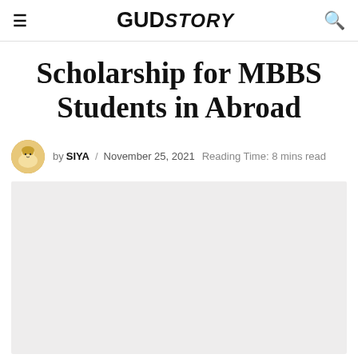GUDSTORY
Scholarship for MBBS Students in Abroad
by SIYA / November 25, 2021 Reading Time: 8 mins read
[Figure (photo): Featured image placeholder — light grey rectangle]